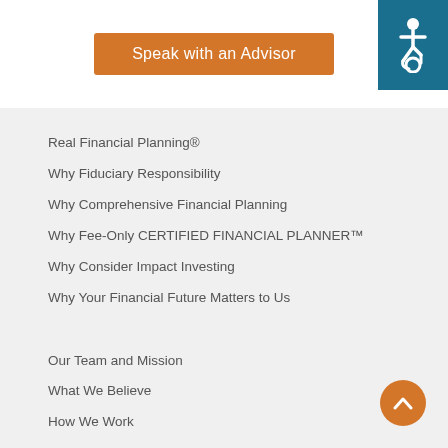[Figure (other): Orange 'Speak with an Advisor' button on white background, with teal accessibility icon in top-right corner]
Real Financial Planning®
Why Fiduciary Responsibility
Why Comprehensive Financial Planning
Why Fee-Only CERTIFIED FINANCIAL PLANNER™
Why Consider Impact Investing
Why Your Financial Future Matters to Us
Our Team and Mission
What We Believe
How We Work
What's in a Name?
Charitable Giving
Press